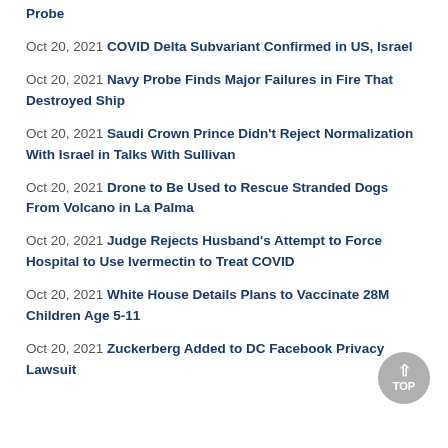Probe
Oct 20, 2021 COVID Delta Subvariant Confirmed in US, Israel
Oct 20, 2021 Navy Probe Finds Major Failures in Fire That Destroyed Ship
Oct 20, 2021 Saudi Crown Prince Didn't Reject Normalization With Israel in Talks With Sullivan
Oct 20, 2021 Drone to Be Used to Rescue Stranded Dogs From Volcano in La Palma
Oct 20, 2021 Judge Rejects Husband's Attempt to Force Hospital to Use Ivermectin to Treat COVID
Oct 20, 2021 White House Details Plans to Vaccinate 28M Children Age 5-11
Oct 20, 2021 Zuckerberg Added to DC Facebook Privacy Lawsuit